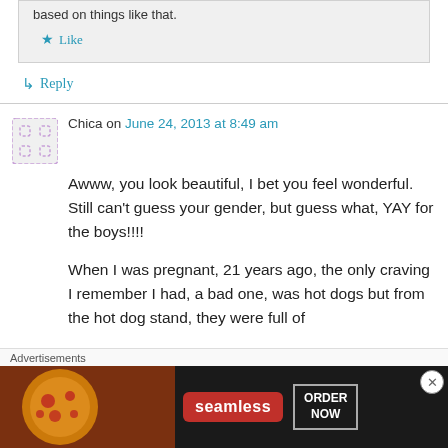based on things like that.
★ Like
↳ Reply
Chica on June 24, 2013 at 8:49 am
Awww, you look beautiful, I bet you feel wonderful. Still can't guess your gender, but guess what, YAY for the boys!!!!
When I was pregnant, 21 years ago, the only craving I remember I had, a bad one, was hot dogs but from the hot dog stand, they were full of
Advertisements
[Figure (screenshot): Seamless food ordering advertisement banner with pizza image, Seamless logo in red, and ORDER NOW button]